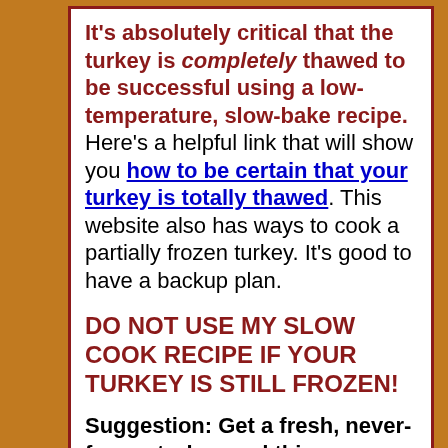It's absolutely critical that the turkey is completely thawed to be successful using a low-temperature, slow-bake recipe. Here's a helpful link that will show you how to be certain that your turkey is totally thawed. This website also has ways to cook a partially frozen turkey. It's good to have a backup plan.
DO NOT USE MY SLOW COOK RECIPE IF YOUR TURKEY IS STILL FROZEN!
Suggestion: Get a fresh, never-frozen turkey and this